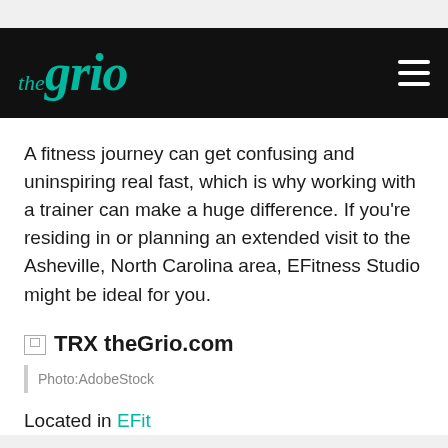theGrio
A fitness journey can get confusing and uninspiring real fast, which is why working with a trainer can make a huge difference. If you're residing in or planning an extended visit to the Asheville, North Carolina area, EFitness Studio might be ideal for you.
[Figure (photo): Broken image placeholder with label 'TRX theGrio.com']
Photo:AdobeStock
...EFit...